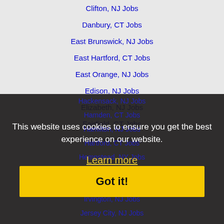Clifton, NJ Jobs
Danbury, CT Jobs
East Brunswick, NJ Jobs
East Hartford, CT Jobs
East Orange, NJ Jobs
Edison, NJ Jobs
Elizabeth, NJ Jobs
Fairfield, CT Jobs
Freeport, NY Jobs
Hackensack, NJ Jobs
Hamden, CT Jobs
Hamilton, NJ Jobs
Hartford, CT Jobs
Hempstead, NY Jobs
Hicksville, NY Jobs
Hoboken, NJ Jobs
Irvington, NJ Jobs
Jersey City, NJ Jobs
This website uses cookies to ensure you get the best experience on our website.
Learn more
Got it!